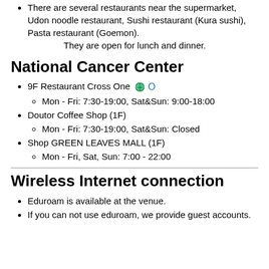There are several restaurants near the supermarket, Udon noodle restaurant, Sushi restaurant (Kura sushi), Pasta restaurant (Goemon). They are open for lunch and dinner.
National Cancer Center
9F Restaurant Cross One [globe icon] O
Mon - Fri: 7:30-19:00, Sat&Sun: 9:00-18:00
Doutor Coffee Shop (1F)
Mon - Fri: 7:30-19:00, Sat&Sun: Closed
Shop GREEN LEAVES MALL (1F)
Mon - Fri, Sat, Sun: 7:00 - 22:00
Wireless Internet connection
Eduroam is available at the venue.
If you can not use eduroam, we provide guest accounts.